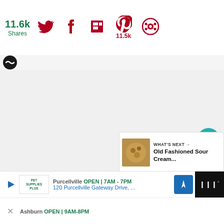11.6k Shares
[Figure (screenshot): Social share bar with Twitter, Facebook, Flipboard, Pinterest (11.5k), and share icons]
[Figure (screenshot): Gray content area with floating heart button (teal, 310 count), share button, and arrow-up button on right side]
[Figure (screenshot): What's Next card showing Old Fashioned Sour Cream... with food thumbnail]
[Figure (screenshot): Bottom ad bar with Pet Supplies Plus ad, address '120 Purcellville Gateway Drive,...', navigation icon, and Ashburn OPEN 9AM-8PM text]